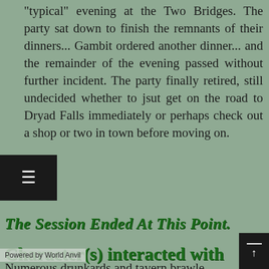"typical" evening at the Two Bridges. The party sat down to finish the remnants of their dinners... Gambit ordered another dinner... and the remainder of the evening passed without further incident. The party finally retired, still undecided whether to jsut get on the road to Dryad Falls immediately or perhaps check out a shop or two in town before moving on.
The Session Ended At This Point.
Character(s) interacted with
Powered by World Anvil
Numerous drunkards and tavern brawlers in the inn